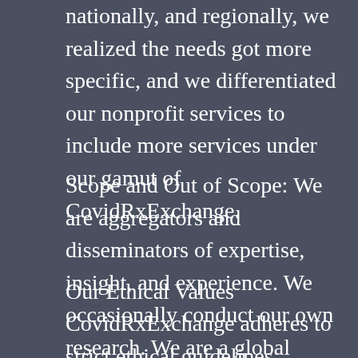nationally, and regionally, we realized the needs got more specific, and we differentiated our nonprofit services to include more services under our gamut of CovidRxExchange.
Scope and Out of Scope: We are aggregators and disseminators of expertise, insight, and experience. We occasionally conduct our own research. We are a global organization.
Our Ethical Values
CovidRxExchange adheres to strict ethical guidelines. Nondiscrimination and noncommercial form the backbone of our services. We are an inclusive organization devoid of leaning towards any political ideology